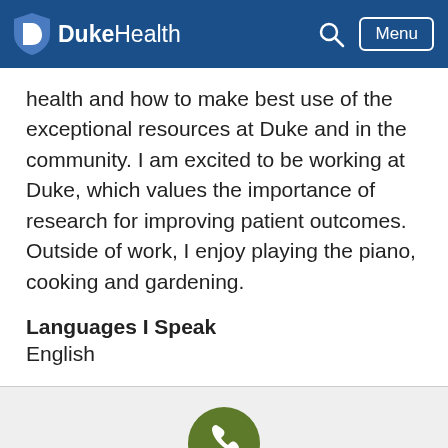DukeHealth
health and how to make best use of the exceptional resources at Duke and in the community. I am excited to be working at Duke, which values the importance of research for improving patient outcomes. Outside of work, I enjoy playing the piano, cooking and gardening.
Languages I Speak
English
[Figure (illustration): Green circle with white phone handset icon]
Call for an Appointment
919-684-6437